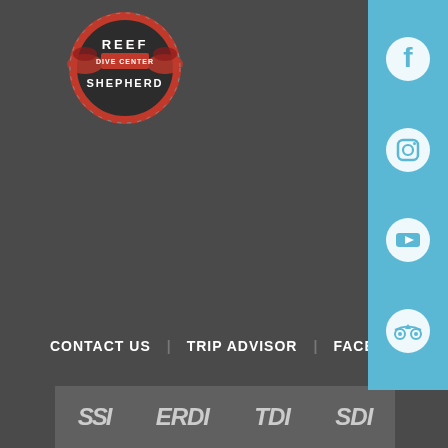[Figure (logo): Reef Shepherd dive center circular logo with red and black design]
[Figure (infographic): Blue social media sidebar with Facebook, Instagram, YouTube, and TripAdvisor icons]
CONTACT US   TRIP ADVISOR   FACEBOOK   YOUT
[Figure (logo): POWERED BY FRAKTAL logo in white text on dark background]
®2018 - DERECHOS RESERVADOS
[Figure (logo): Bottom bar with SSI, ERDI, TDI, SDI logos]